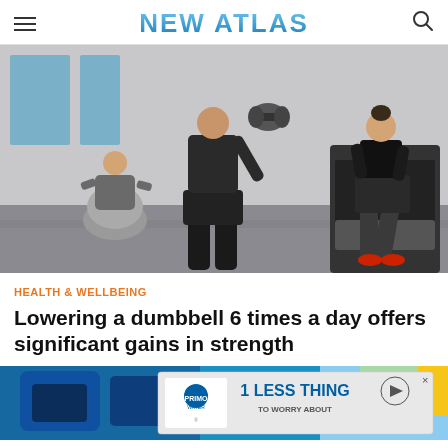NEW ATLAS
[Figure (photo): People exercising in a gym: a man lifting a dumbbell in the foreground, a woman on a treadmill in the background, and another person doing exercises on a fitness ball on the left.]
HEALTH & WELLBEING
Lowering a dumbbell 6 times a day offers significant gains in strength
[Figure (photo): Partial view of blue exercise/gym equipment with an advertisement banner overlay reading '1 LESS THING TO WORRY ABOUT' with Primo Water branding.]